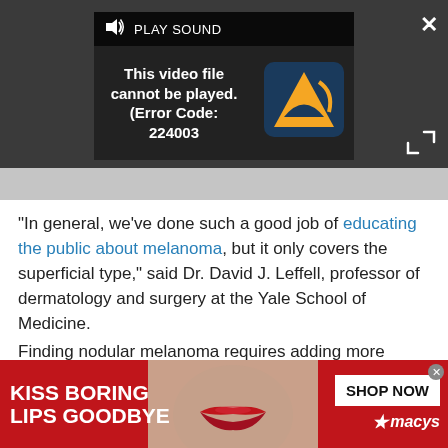[Figure (screenshot): Video player with error message 'This video file cannot be played. (Error Code: 224003)' and LS logo, with PLAY SOUND bar and X close button.]
"In general, we've done such a good job of educating the public about melanoma, but it only covers the superficial type," said Dr. David J. Leffell, professor of dermatology and surgery at the Yale School of Medicine.
Finding nodular melanoma requires adding more letters to the ABCD model, such as "E" for evolving, or rapidly changing over weeks or months. Doctors also added "F" and "G" to describe nodular melanoma...
[Figure (photo): Advertisement banner: KISS BORING LIPS GOODBYE with photo of woman with red lips and SHOP NOW button with Macy's star logo on red background.]